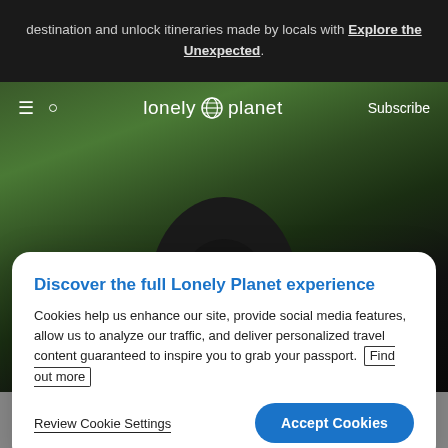destination and unlock itineraries made by locals with Explore the Unexpected.
[Figure (screenshot): Lonely Planet website navigation bar with hamburger menu, search icon, Lonely Planet globe logo, and Subscribe button on dark background]
[Figure (photo): A mountain gorilla surrounded by lush green tropical foliage]
Discover the full Lonely Planet experience
Cookies help us enhance our site, provide social media features, allow us to analyze our traffic, and deliver personalized travel content guaranteed to inspire you to grab your passport. Find out more
Review Cookie Settings
Accept Cookies